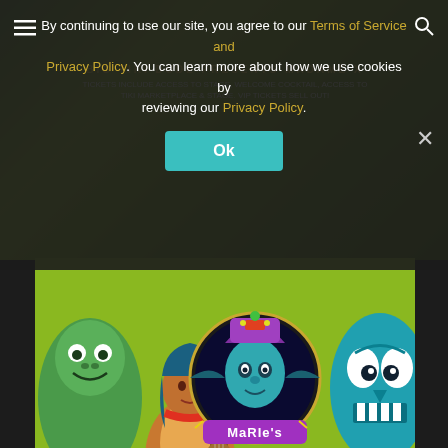[Figure (illustration): Colorful tiki-themed illustration banner showing a hula girl with guitar, a masked deity with elaborate headdress labeled 'Marie's Tek Tec', and a blue tiki monster face on a lime green background]
By continuing to use our site, you agree to our Terms of Service and Privacy Policy. You can learn more about how we use cookies by reviewing our Privacy Policy.
[Figure (photo): Dark red-lit photo showing two women in costume with face paint — one with dark lipstick and one with skull face paint — holding white candles in a Halloween/horror themed setting]